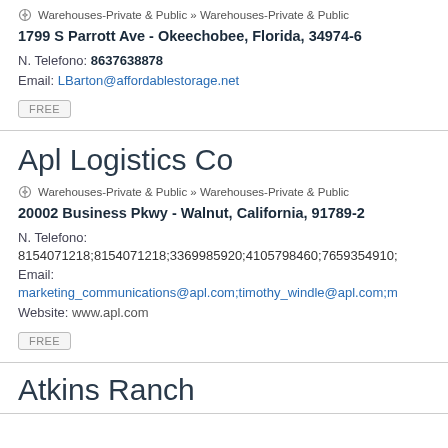Warehouses-Private & Public » Warehouses-Private & Public
1799 S Parrott Ave - Okeechobee, Florida, 34974-6
N. Telefono: 8637638878
Email: LBarton@affordablestorage.net
FREE
Apl Logistics Co
Warehouses-Private & Public » Warehouses-Private & Public
20002 Business Pkwy - Walnut, California, 91789-2
N. Telefono: 8154071218;8154071218;3369985920;4105798460;7659354910;…
Email: marketing_communications@apl.com;timothy_windle@apl.com;…
Website: www.apl.com
FREE
Atkins Ranch